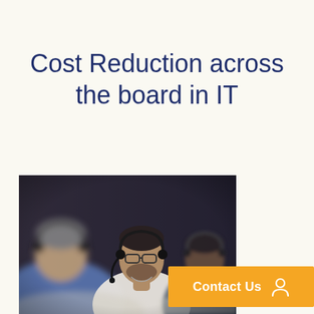Cost Reduction across the board in IT
[Figure (photo): Three men wearing headsets working at computers in what appears to be a call center or IT support environment. The man on the left wears a blue shirt, the man in the center wears a white shirt and glasses, and the man on the right wears a dark shirt.]
Contact Us